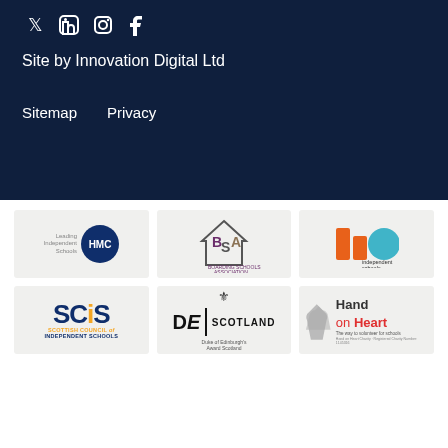[Figure (logo): Social media icons: Twitter, LinkedIn, Instagram, Facebook]
Site by Innovation Digital Ltd
Sitemap   Privacy
[Figure (logo): HMC - Leading Independent Schools logo]
[Figure (logo): BSA - Boarding Schools Association logo]
[Figure (logo): Independent Schools Council logo]
[Figure (logo): SCIS - Scottish Council of Independent Schools logo]
[Figure (logo): Duke of Edinburgh Scotland logo]
[Figure (logo): Hand on Heart logo]